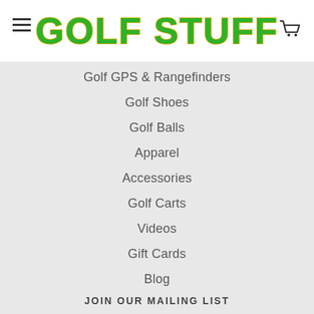GOLF STUFF
Golf GPS & Rangefinders
Golf Shoes
Golf Balls
Apparel
Accessories
Golf Carts
Videos
Gift Cards
Blog
Tracking
JOIN OUR MAILING LIST